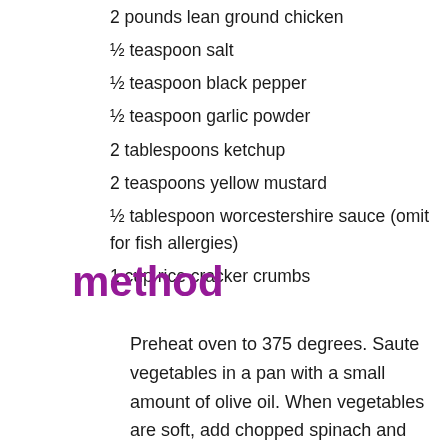2 pounds lean ground chicken
½ teaspoon salt
½ teaspoon black pepper
½ teaspoon garlic powder
2 tablespoons ketchup
2 teaspoons yellow mustard
½ tablespoon worcestershire sauce (omit for fish allergies)
1 cup rice cracker crumbs
method
Preheat oven to 375 degrees. Saute vegetables in a pan with a small amount of olive oil. When vegetables are soft, add chopped spinach and stir until wilted.